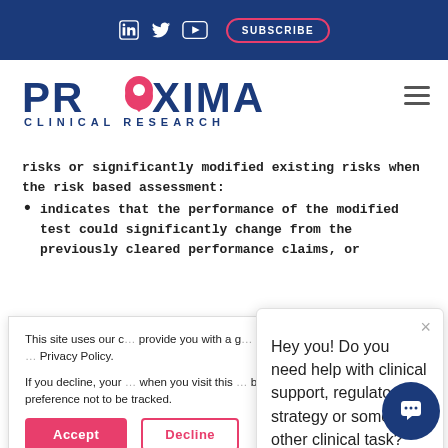in  twitter  youtube  SUBSCRIBE
[Figure (logo): Proxima Clinical Research logo with location pin in the O]
risks or significantly modified existing risks when the risk based assessment:
indicates that the performance of the modified test could significantly change from the previously cleared performance claims, or
This site uses our cookies to provide you with a good experience. Find out more about the cookies in our Privacy Policy.

If you decline, your information won't be tracked when you visit this website. A single cookie will be used in your browser to remember your preference not to be tracked.
Hey you! Do you need help with clinical support, regulatory strategy or some other clinical task?
Accept
Decline